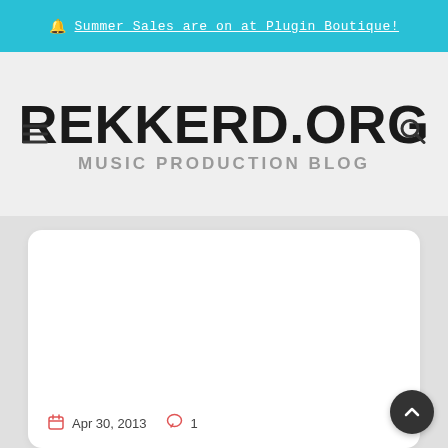🔔 Summer Sales are on at Plugin Boutique!
REKKERD.ORG
MUSIC PRODUCTION BLOG
Apr 30, 2013  💬 1